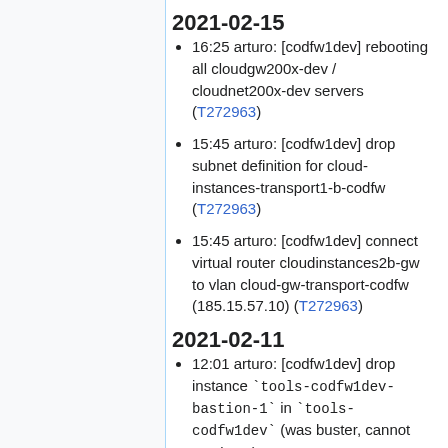2021-02-15
16:25 arturo: [codfw1dev] rebooting all cloudgw200x-dev / cloudnet200x-dev servers (T272963)
15:45 arturo: [codfw1dev] drop subnet definition for cloud-instances-transport1-b-codfw (T272963)
15:45 arturo: [codfw1dev] connect virtual router cloudinstances2b-gw to vlan cloud-gw-transport-codfw (185.15.57.10) (T272963)
2021-02-11
12:01 arturo: [codfw1dev] drop instance `tools-codfw1dev-bastion-1` in `tools-codfw1dev` (was buster, cannot use it yet)
11:59 arturo: [codfw1dev] create instance `tools-codfw1dev-bastion-2`